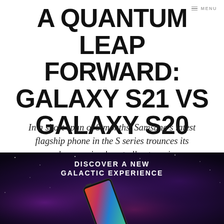MENU
A QUANTUM LEAP FORWARD: GALAXY S21 VS GALAXY S20
In a short span of 9 months, Samsung's latest flagship phone in the S series trounces its predecessor in almost all categories.
[Figure (photo): Samsung Galaxy S21 advertisement image on a dark space/galaxy background with purple and blue nebula colors. Text reads 'DISCOVER A NEW GALACTIC EXPERIENCE' in white bold uppercase letters. A Samsung Galaxy phone is shown tilted at an angle with a colorful abstract display screen.]